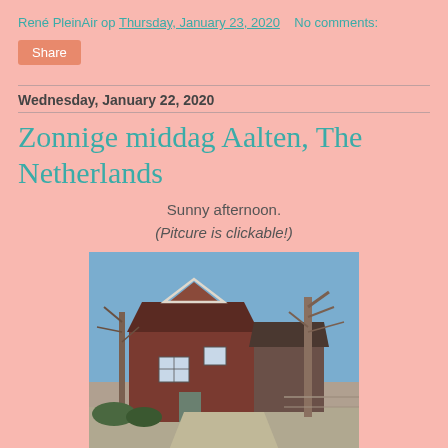René PleinAir op Thursday, January 23, 2020   No comments:
Share
Wednesday, January 22, 2020
Zonnige middag Aalten, The Netherlands
Sunny afternoon.
(Pitcure is clickable!)
[Figure (photo): Oil painting of a Dutch farmhouse in Aalten with bare winter trees and a blue sky]
Zonnige middag.